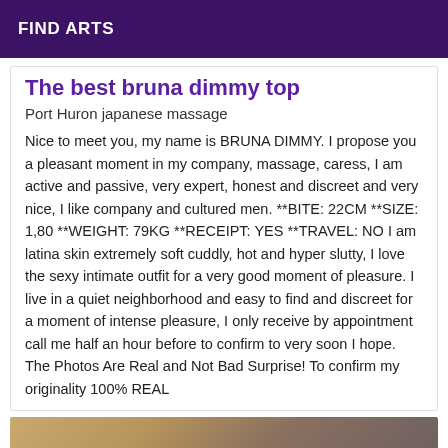FIND ARTS
The best bruna dimmy top
Port Huron japanese massage
Nice to meet you, my name is BRUNA DIMMY. I propose you a pleasant moment in my company, massage, caress, I am active and passive, very expert, honest and discreet and very nice, I like company and cultured men. **BITE: 22CM **SIZE: 1,80 **WEIGHT: 79KG **RECEIPT: YES **TRAVEL: NO I am latina skin extremely soft cuddly, hot and hyper slutty, I love the sexy intimate outfit for a very good moment of pleasure. I live in a quiet neighborhood and easy to find and discreet for a moment of intense pleasure, I only receive by appointment call me half an hour before to confirm to very soon I hope. The Photos Are Real and Not Bad Surprise! To confirm my originality 100% REAL
[Figure (photo): Partial photo at bottom of page, warm tones]